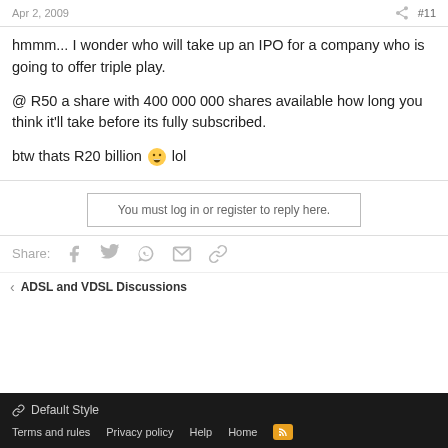Apr 2, 2009  #11
hmmm... I wonder who will take up an IPO for a company who is going to offer triple play.
@ R50 a share with 400 000 000 shares available how long you think it'll take before its fully subscribed.
btw thats R20 billion 🙂 lol
You must log in or register to reply here.
Share:
ADSL and VDSL Discussions
Default Style  Terms and rules  Privacy policy  Help  Home